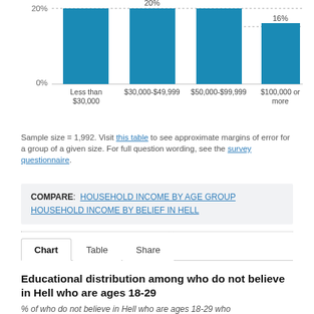[Figure (bar-chart): Household income bar chart (partial)]
Sample size = 1,992. Visit this table to see approximate margins of error for a group of a given size. For full question wording, see the survey questionnaire.
COMPARE: HOUSEHOLD INCOME BY AGE GROUP   HOUSEHOLD INCOME BY BELIEF IN HELL
Chart  Table  Share
Educational distribution among who do not believe in Hell who are ages 18-29
% of who do not believe in Hell who are ages 18-29 who have completed...